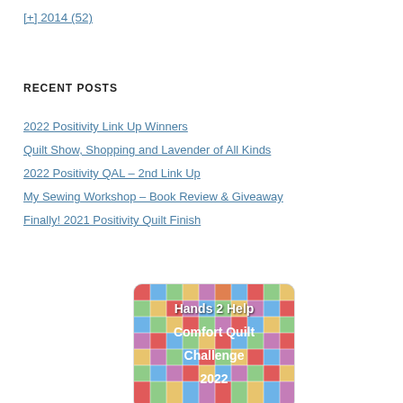[+] 2014 (52)
RECENT POSTS
2022 Positivity Link Up Winners
Quilt Show, Shopping and Lavender of All Kinds
2022 Positivity QAL – 2nd Link Up
My Sewing Workshop – Book Review & Giveaway
Finally! 2021 Positivity Quilt Finish
[Figure (photo): Hands 2 Help Comfort Quilt Challenge 2022 promotional image with colorful patchwork quilt squares in the background and white text overlay.]